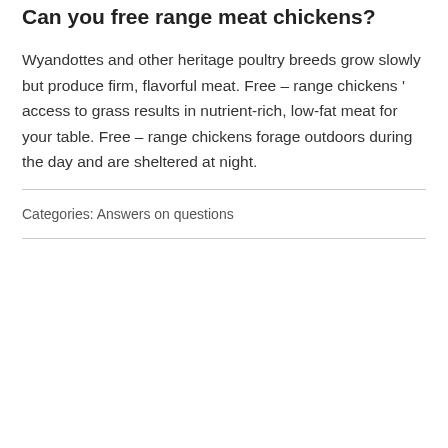Can you free range meat chickens?
Wyandottes and other heritage poultry breeds grow slowly but produce firm, flavorful meat. Free – range chickens ' access to grass results in nutrient-rich, low-fat meat for your table. Free – range chickens forage outdoors during the day and are sheltered at night.
Categories: Answers on questions